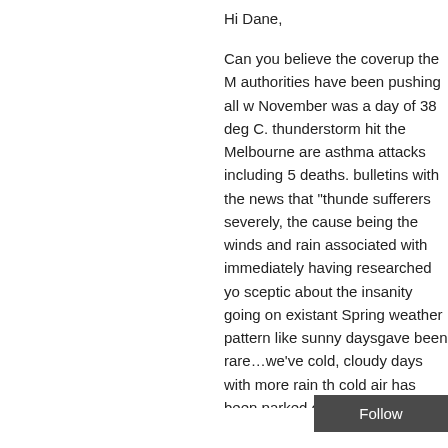Hi Dane,
Can you believe the coverup the M authorities have been pushing all w November was a day of 38 deg C. thunderstorm hit the Melbourne are asthma attacks including 5 deaths. bulletins with the news that "thunde sufferers severely, the cause being the winds and rain associated with immediately having researched yo sceptic about the insanity going on existant Spring weather pattern like sunny daysgave been rare…we've cold, cloudy days with more rain th cold air has been parked over sout hot then followed immediately by th engineers are doing their dirty dee